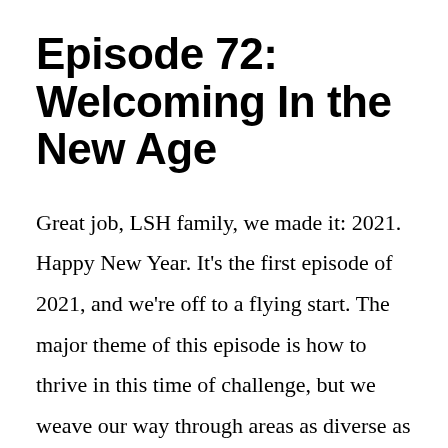Episode 72: Welcoming In the New Age
Great job, LSH family, we made it: 2021. Happy New Year. It’s the first episode of 2021, and we’re off to a flying start. The major theme of this episode is how to thrive in this time of challenge, but we weave our way through areas as diverse as politics, skiing, relationships, practice, and home …